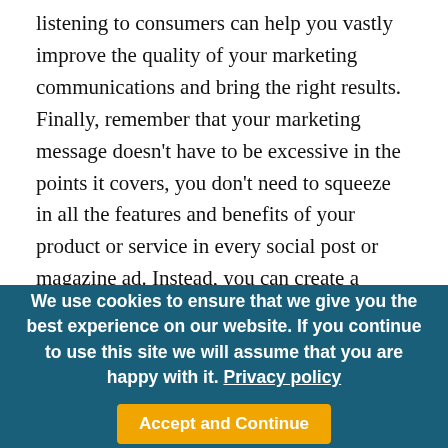listening to consumers can help you vastly improve the quality of your marketing communications and bring the right results. Finally, remember that your marketing message doesn't have to be excessive in the points it covers, you don't need to squeeze in all the features and benefits of your product or service in every social post or magazine ad. Instead, you can create a number of messages for each feature. This will focus your consumers' attention on the right things, help with engaging them and
We use cookies to ensure that we give you the best experience on our website. If you continue to use this site we will assume that you are happy with it. Privacy policy  Accept and Continue